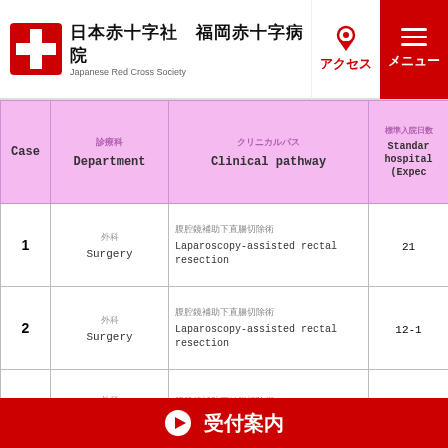[Figure (logo): Japanese Red Cross Society logo with red cross icon, Japanese text 日本赤字社 福岡赤十字病院 and subtitle Japanese Red Cross Society]
| Case | 診療科
Department | クリニカルパス
Clinical pathway | 標準入院日数（期待値）
Standard hospital (Expec |
| --- | --- | --- | --- |
| 1 | 外科
Surgery | 腹腔鏡補助下直腸切除術
Laparoscopy-assisted rectal resection | 21 |
| 2 | 外科
Surgery | 腹腔鏡補助下直腸切除術
Laparoscopy-assisted rectal resection | 12-1 |
| 3 | 外科
Surgery | 腹腔鏡補助下結腸切除術
Laparoscopy-assisted colectomy | 10-1 |
| 4 | 外科 | 腹腔鏡補助下... |  |
[Figure (infographic): Red bar at bottom with play icon and text 受付案内]